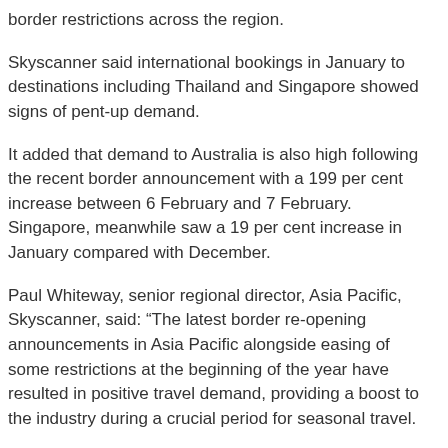border restrictions across the region.
Skyscanner said international bookings in January to destinations including Thailand and Singapore showed signs of pent-up demand.
It added that demand to Australia is also high following the recent border announcement with a 199 per cent increase between 6 February and 7 February. Singapore, meanwhile saw a 19 per cent increase in January compared with December.
Paul Whiteway, senior regional director, Asia Pacific, Skyscanner, said: “The latest border re-opening announcements in Asia Pacific alongside easing of some restrictions at the beginning of the year have resulted in positive travel demand, providing a boost to the industry during a crucial period for seasonal travel.
“Skyscanner’s flight data analysis shows increased